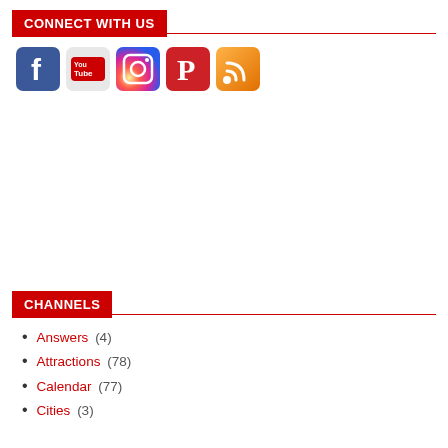CONNECT WITH US
[Figure (illustration): Row of five social media icons: Facebook (blue), YouTube (white/red), Instagram (camera), Pinterest (red/white P), RSS feed (orange)]
CHANNELS
Answers (4)
Attractions (78)
Calendar (77)
Cities (3)